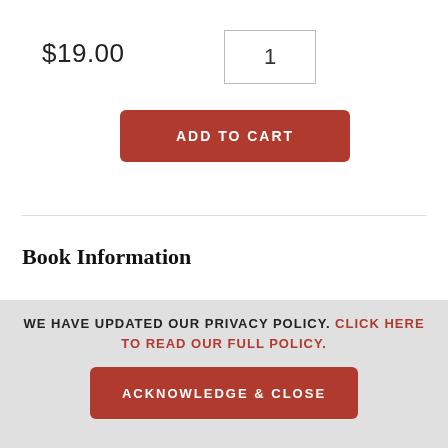$19.00
1
ADD TO CART
Book Information
| Label | Value |
| --- | --- |
| PUBLISHER: | McGraw-Hill Education |
| PUBLISH DATE: | 10/08/2013 |
| PAGES: | 210 |
WE HAVE UPDATED OUR PRIVACY POLICY. CLICK HERE TO READ OUR FULL POLICY.
ACKNOWLEDGE & CLOSE